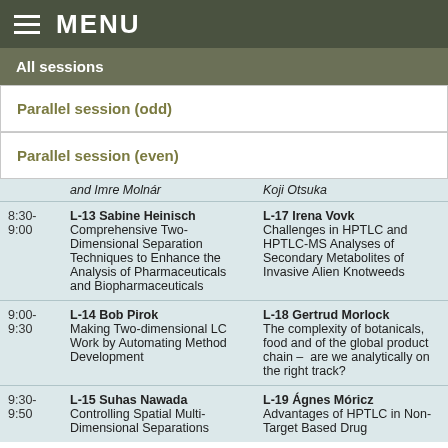MENU
All sessions
Parallel session (odd)
Parallel session (even)
| Time | Parallel session (odd) | Parallel session (even) |
| --- | --- | --- |
|  | and Imre Molnár | Koji Otsuka |
| 8:30-9:00 | L-13 Sabine Heinisch
Comprehensive Two-Dimensional Separation Techniques to Enhance the Analysis of Pharmaceuticals and Biopharmaceuticals | L-17 Irena Vovk
Challenges in HPTLC and HPTLC-MS Analyses of Secondary Metabolites of Invasive Alien Knotweeds |
| 9:00-9:30 | L-14 Bob Pirok
Making Two-dimensional LC Work by Automating Method Development | L-18 Gertrud Morlock
The complexity of botanicals, food and of the global product chain – are we analytically on the right track? |
| 9:30-9:50 | L-15 Suhas Nawada
Controlling Spatial Multi-Dimensional Separations | L-19 Ágnes Móricz
Advantages of HPTLC in Non-Target Based Drug |